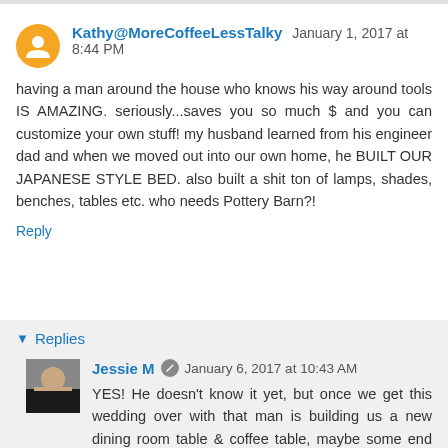Kathy@MoreCoffeeLessTalky January 1, 2017 at 8:44 PM
having a man around the house who knows his way around tools IS AMAZING. seriously...saves you so much $ and you can customize your own stuff! my husband learned from his engineer dad and when we moved out into our own home, he BUILT OUR JAPANESE STYLE BED. also built a shit ton of lamps, shades, benches, tables etc. who needs Pottery Barn?!
Reply
Replies
Jessie M January 6, 2017 at 10:43 AM
YES! He doesn't know it yet, but once we get this wedding over with that man is building us a new dining room table & coffee table, maybe some end tables!? And a new bed frame. Nothing WRONG with ours, just hate the style.